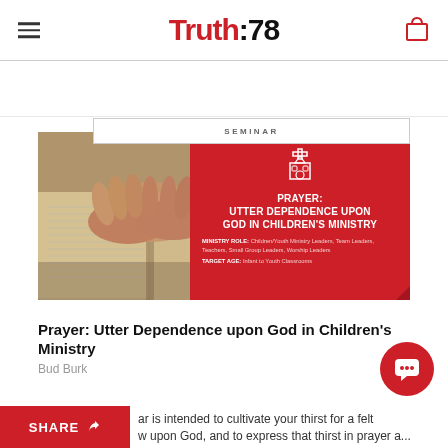Truth:78
[Figure (illustration): Seminar product card showing praying hands on a Bible (photo) overlaid with a red card featuring a church icon and the title 'PRAYER: UTTER DEPENDENCE UPON GOD IN CHILDREN'S MINISTRY' with ministry role and target age details. Above the card is a label box reading 'SEMINAR'.]
Prayer: Utter Dependence upon God in Children's Ministry
Bud Burk
ar is intended to cultivate your thirst for a felt w upon God, and to express that thirst in prayer a...